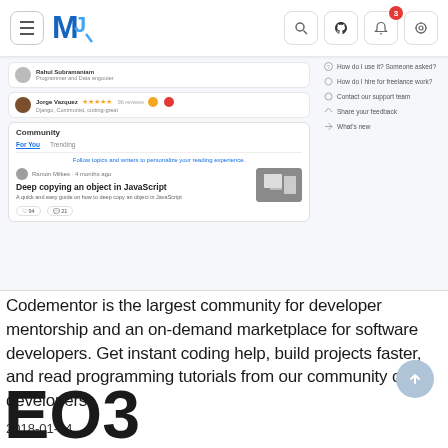[Figure (screenshot): Screenshot of Codementor website showing navigation bar with MJ logo, search, GitHub, bell (3 notifications), and settings icons. Below shows community section with user profiles including Jorge Vazquez with star rating, Community tab with For You and Trending tabs, and an article titled 'Deep copying an object in JavaScript' with thumbnail image. Right sidebar shows help links.]
Codementor is the largest community for developer mentorship and an on-demand marketplace for software developers. Get instant coding help, build projects faster, and read programming tutorials from our community of developers.
2018-01-34
EO3